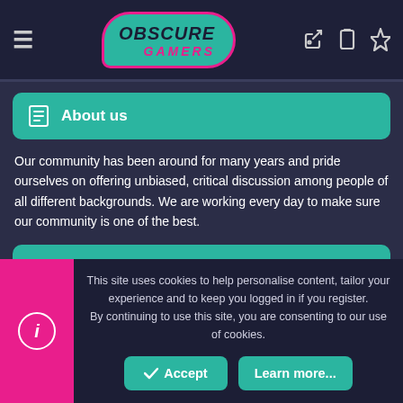[Figure (logo): Obscure Gamers logo: teal speech bubble with dark text OBSCURE GAMERS in pink, surrounded by pink outline]
About us
Our community has been around for many years and pride ourselves on offering unbiased, critical discussion among people of all different backgrounds. We are working every day to make sure our community is one of the best.
Quick Navigation
Home
This site uses cookies to help personalise content, tailor your experience and to keep you logged in if you register.
By continuing to use this site, you are consenting to our use of cookies.